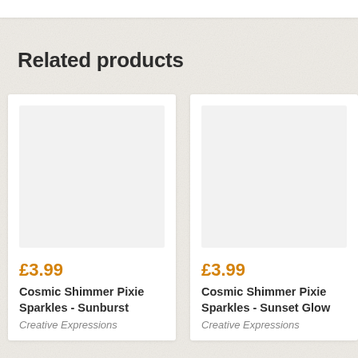Related products
[Figure (other): Product image placeholder (light grey rectangle) for Cosmic Shimmer Pixie Sparkles - Sunburst]
£3.99
Cosmic Shimmer Pixie Sparkles - Sunburst
Creative Expressions
[Figure (other): Product image placeholder (light grey rectangle) for Cosmic Shimmer Pixie Sparkles - Sunset Glow]
£3.99
Cosmic Shimmer Pixie Sparkles - Sunset Glow
Creative Expressions